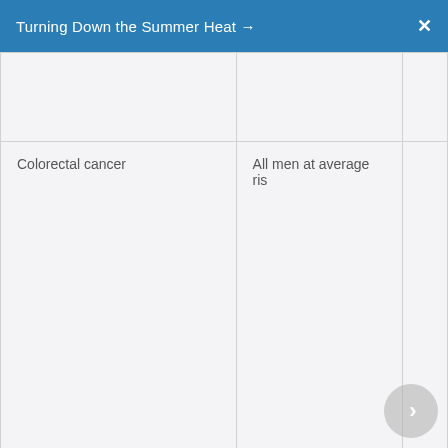Turning Down the Summer Heat →
|  |  |
| Colorectal cancer | All men at average ris... |
| Depression | All men in this age gro... |